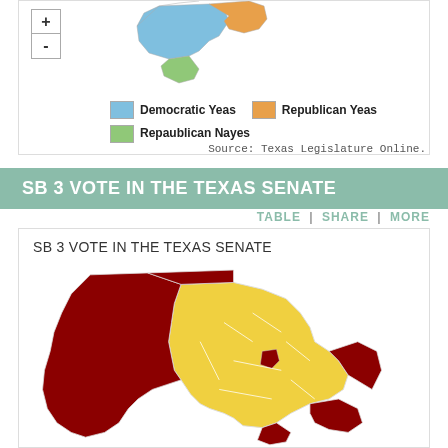[Figure (map): Partial map of Texas showing SB 3 vote in Texas House, with regions colored in blue (Democratic Yeas), orange (Republican Yeas), and green (Republican Nayes). Map controls (+/-) visible in top left.]
Democratic Yeas  Republican Yeas  Repaublican Nayes
Source: Texas Legislature Online.
SB 3 VOTE IN THE TEXAS SENATE
TABLE | SHARE | MORE
[Figure (map): Map of Texas showing SB 3 Vote in the Texas Senate, with regions colored dark red and yellow representing different voting patterns.]
SB 3 VOTE IN THE TEXAS SENATE